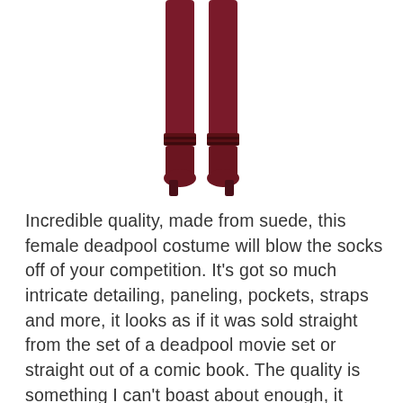[Figure (photo): Lower half of a figure wearing a dark red/maroon costume with boots — legs and boots only visible, cropped at the top edge of the page]
Incredible quality, made from suede, this female deadpool costume will blow the socks off of your competition. It's got so much intricate detailing, paneling, pockets, straps and more, it looks as if it was sold straight from the set of a deadpool movie set or straight out of a comic book. The quality is something I can't boast about enough, it looks incredible on and if you can narrow down the characteristics of Deadpool (I have some tips further on below) it will be hard to tell between you and the real thing. This